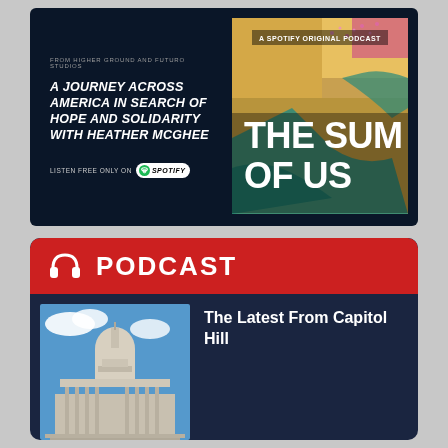[Figure (advertisement): Spotify podcast advertisement for 'The Sum of Us' - dark navy background with text on left and colorful map-art album cover on right. Text reads: FROM HIGHER GROUND AND FUTURO STUDIOS / A JOURNEY ACROSS AMERICA IN SEARCH OF HOPE AND SOLIDARITY WITH HEATHER MCGHEE / LISTEN FREE ONLY ON Spotify. Right side shows album art with text 'A SPOTIFY ORIGINAL PODCAST' and large title 'THE SUM OF US' over a colorful map illustration.]
[Figure (screenshot): Podcast section with red header bar containing headphone icon and 'PODCAST' label. Below shows a photo of the US Capitol building against blue sky, with text 'The Latest From Capitol Hill' beside it.]